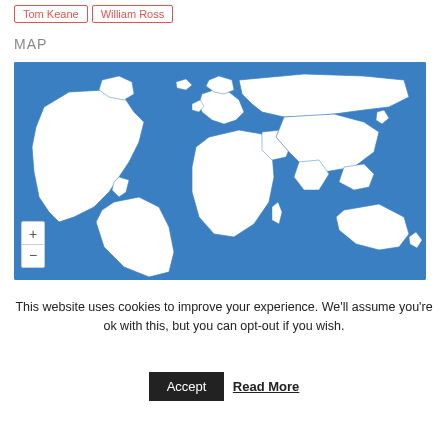Tom Keane
William Ross
MAP
[Figure (map): World map showing 2,889 pageviews from Aug. 03rd to Sep. 03rd. Blue background with white country outlines. Zoom controls (+/-) in bottom left.]
This website uses cookies to improve your experience. We'll assume you're ok with this, but you can opt-out if you wish.
Accept   Read More